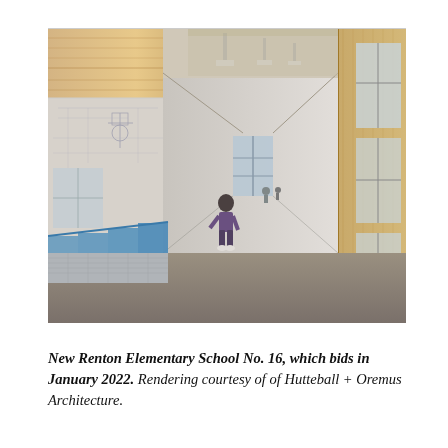[Figure (illustration): Architectural rendering of the interior hallway of New Renton Elementary School No. 16. The image shows a wide corridor with a child figure walking in the middle ground. The ceiling features exposed wooden beams and structural elements. There are blue accent panels along a railing on the left side, large windows on the right, wire-frame overlay sketches on the left showing gymnasium-like space, and the corridor extends toward glass entrance doors in the background.]
New Renton Elementary School No. 16, which bids in January 2022. Rendering courtesy of of Hutteball + Oremus Architecture.